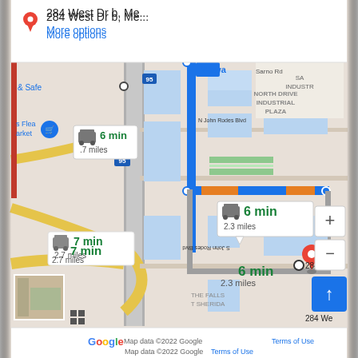[Figure (map): Google Maps screenshot showing driving directions to 284 West Dr b, Melbourne FL. Two routes shown: primary route (blue) 6 min / 2.3 miles, alternate route (gray) 7 min / 2.7 miles. Map shows N John Rodes Blvd, S John Rodes Blvd, I-95, Wawa, North Drive Industrial Plaza area.]
284 West Dr b, Me...
More options
6 min
2.3 miles
7 min
2.7 miles
284 We
Map data ©2022 Google    Terms of Use